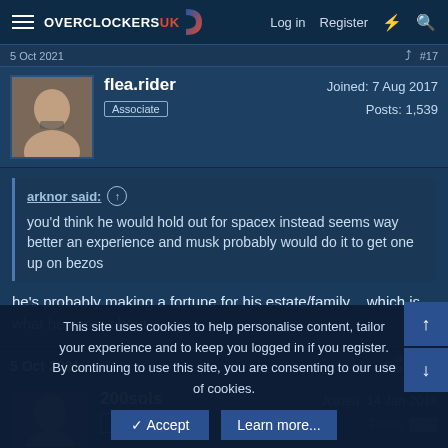Overclockers UK — Log in  Register
5 Oct 2021  #17
flea.rider
Associate
Joined: 7 Aug 2017
Posts: 1,539
arknor said: ↑
you'd think he would hold out for spacex instead seems way better an experience and musk probably would do it to get one up on bezos
he's probably making a fortune for his estate/family .. which is what he cares about ..
5 Oct 2021  #18
200sols
Joined: 14 Jan 2018
Posts: ...
This site uses cookies to help personalise content, tailor your experience and to keep you logged in if you register.
By continuing to use this site, you are consenting to our use of cookies.